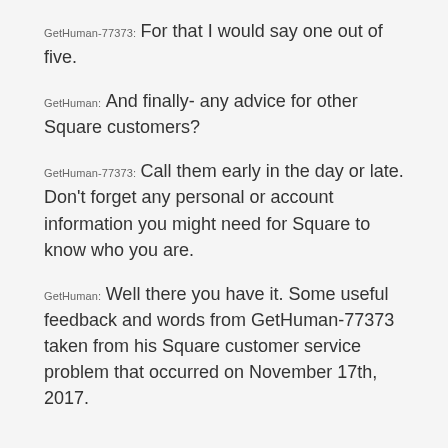GetHuman-77373: For that I would say one out of five.
GetHuman: And finally- any advice for other Square customers?
GetHuman-77373: Call them early in the day or late. Don't forget any personal or account information you might need for Square to know who you are.
GetHuman: Well there you have it. Some useful feedback and words from GetHuman-77373 taken from his Square customer service problem that occurred on November 17th, 2017.
Square
[Figure (other): Star rating display showing 1.24 out of 5 stars with 2 filled/partial stars and 3 empty stars]
1.24 of 5 stars | 208 reviews